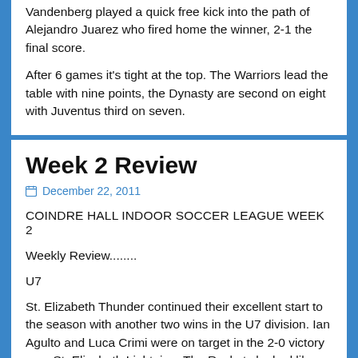Vandenberg played a quick free kick into the path of Alejandro Juarez who fired home the winner, 2-1 the final score.
After 6 games it's tight at the top. The Warriors lead the table with nine points, the Dynasty are second on eight with Juventus third on seven.
Week 2 Review
December 22, 2011
COINDRE HALL INDOOR SOCCER LEAGUE WEEK 2
Weekly Review........
U7
St. Elizabeth Thunder continued their excellent start to the season with another two wins in the U7 division. Ian Agulto and Luca Crimi were on target in the 2-0 victory over St. Elizabeth Lightning. The Rockets looked like they were going to hold the Thunder in their next game but late strikes from Jack Fall...